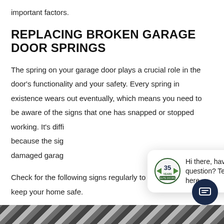important factors.
REPLACING BROKEN GARAGE DOOR SPRINGS
The spring on your garage door plays a crucial role in the door's functionality and your safety. Every spring in existence wears out eventually, which means you need to be aware of the signs that one has snapped or stopped working. It's diffi... because the sig... damaged garag...
Check for the following signs regularly to save mo... and keep your home safe.
[Figure (screenshot): Chat popup overlay with close button, a logo showing '35 years' badge, and text 'Hi there, have a question? Text us here.' with a dark chat launcher button.]